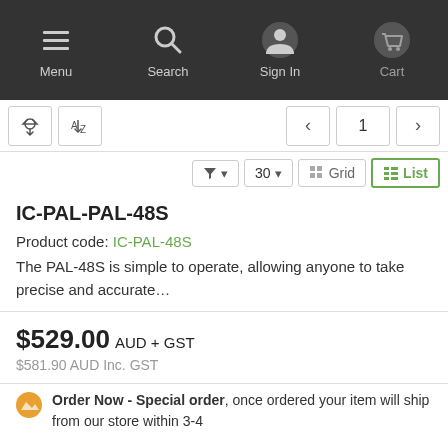Menu | Search | Sign In | Cart
Sort / Filter controls, page 1
Filter | 30 | Grid | List
IC-PAL-PAL-48S
Product code: IC-PAL-48S
The PAL-48S is simple to operate, allowing anyone to take precise and accurate…
$529.00 AUD + GST
$581.90 AUD Inc. GST
Order Now - Special order, once ordered your item will ship from our store within 3-4